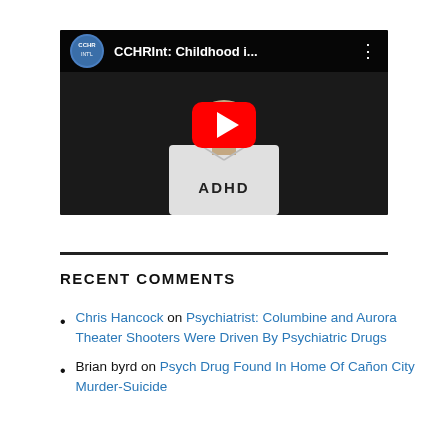[Figure (screenshot): YouTube video thumbnail showing a person wearing a shirt that reads 'ADHD'. The video is titled 'CCHRInt: Childhood i...' with a YouTube play button overlay.]
RECENT COMMENTS
Chris Hancock on Psychiatrist: Columbine and Aurora Theater Shooters Were Driven By Psychiatric Drugs
Brian byrd on Psych Drug Found In Home Of Cañon City Murder-Suicide